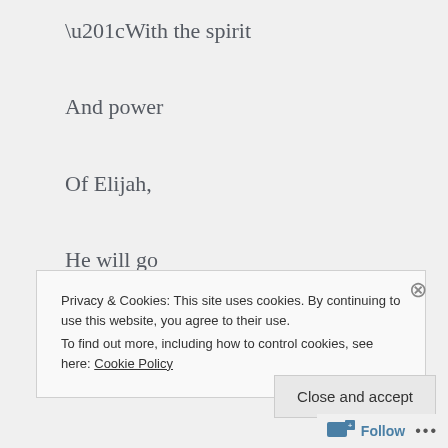“With the spirit
And power
Of Elijah,
He will go
Before the Messiah.
Privacy & Cookies: This site uses cookies. By continuing to use this website, you agree to their use.
To find out more, including how to control cookies, see here: Cookie Policy